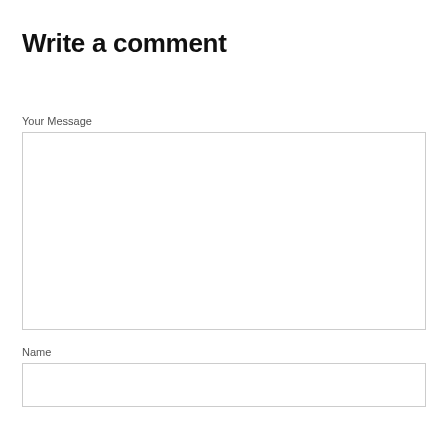Write a comment
Your Message
Name